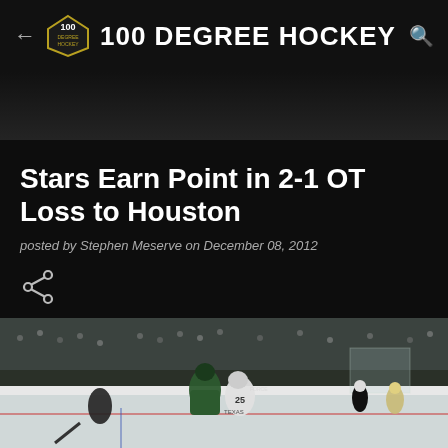100 DEGREE HOCKEY
Stars Earn Point in 2-1 OT Loss to Houston
posted by Stephen Meserve on December 08, 2012
[Figure (illustration): Share icon (less-than style arrows)]
[Figure (photo): Hockey game action photo showing players on ice including player #25 in white Texas Stars jersey competing with a green Minnesota Wild player, crowd visible in background, referee in background]